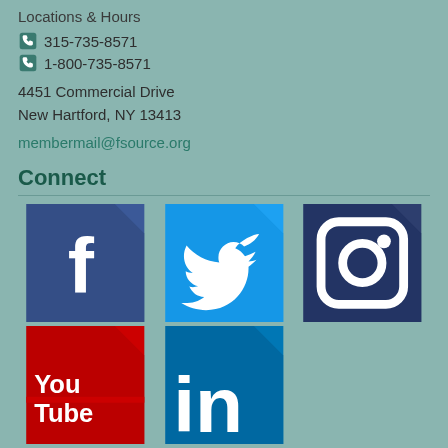Locations & Hours
315-735-8571
1-800-735-8571
4451 Commercial Drive
New Hartford, NY 13413
membermail@fsource.org
Connect
[Figure (logo): Facebook logo icon - blue background with white F]
[Figure (logo): Twitter logo icon - blue background with white bird]
[Figure (logo): Instagram logo icon - dark blue background with white camera]
[Figure (logo): YouTube logo icon - red background with white YouTube text]
[Figure (logo): LinkedIn logo icon - blue background with white in text]